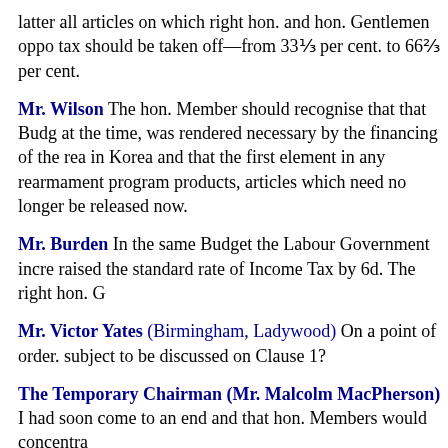latter all articles on which right hon. and hon. Gentlemen oppo tax should be taken off—from 33⅓ per cent. to 66⅔ per cent.
Mr. Wilson The hon. Member should recognise that that Budg at the time, was rendered necessary by the financing of the rea in Korea and that the first element in any rearmament program products, articles which need no longer be released now.
Mr. Burden In the same Budget the Labour Government incre raised the standard rate of Income Tax by 6d. The right hon. G
Mr. Victor Yates (Birmingham, Ladywood) On a point of order subject to be discussed on Clause 1?
The Temporary Chairman (Mr. Malcolm MacPherson) I had soon come to an end and that hon. Members would concentra
Mr. Burden If the hon. Member for Ladywood (Mr. V. Yates) ha right hon. Friend raising precisely these points when he opene
Mr. Yates I have not been absent from the Committee. I have l